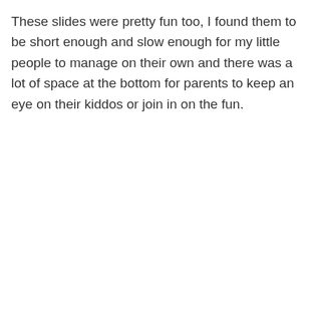These slides were pretty fun too, I found them to be short enough and slow enough for my little people to manage on their own and there was a lot of space at the bottom for parents to keep an eye on their kiddos or join in on the fun.